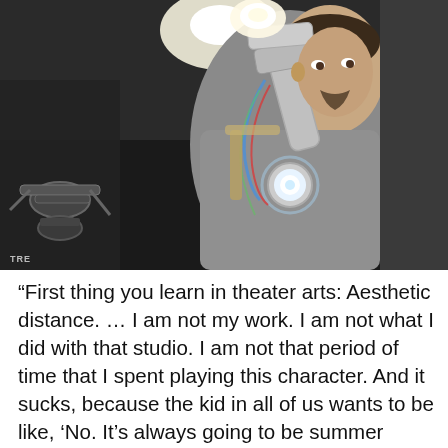[Figure (photo): A man wearing a grey t-shirt holds up a robotic/mechanical arm assembly with glowing elements. He appears to be in a workshop. A glowing arc reactor is visible on his chest. Robot arm mechanisms are visible on the left. Watermark 'TRE' in bottom-left corner.]
“First thing you learn in theater arts: Aesthetic distance. … I am not my work. I am not what I did with that studio. I am not that period of time that I spent playing this character. And it sucks, because the kid in all of us wants to be like, ‘No. It’s always going to be summer camp and we’re all holding hands and singing ‘Kumbaya,’ he further added